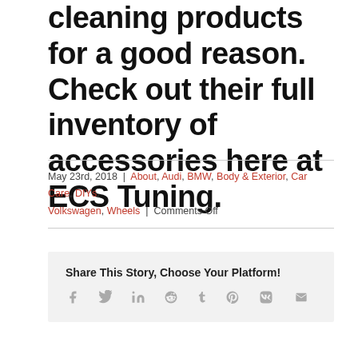cleaning products for a good reason. Check out their full inventory of accessories here at ECS Tuning.
May 23rd, 2018 | About, Audi, BMW, Body & Exterior, Car Care, DIYs, Volkswagen, Wheels | Comments Off
Share This Story, Choose Your Platform!